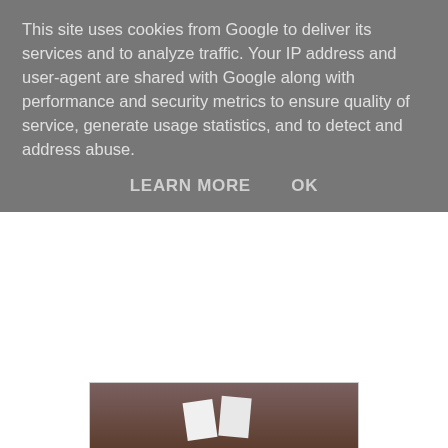This site uses cookies from Google to deliver its services and to analyze traffic. Your IP address and user-agent are shared with Google along with performance and security metrics to ensure quality of service, generate usage statistics, and to detect and address abuse.
LEARN MORE    OK
[Figure (photo): A photo showing a ground-level view of a red/dark soil path or footpath area with two white paper/sign pieces visible and small green sprouts. Building work appears to be in the background.]
They jumped and splashed in just about every puddle on the way home. Not quite sure what this sign was in aid of. There is a lot of building work going on with the new school being built to the right of this picture. But there was no sign at the other end of the footpath as we came down from the top. Also when you go left as we did, the twins followed Bob as he always goes that way, you come back out on the path half